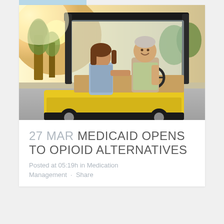[Figure (photo): An older man driving a golf cart with a younger person (child or young adult) sitting beside him, smiling and enjoying a sunny day. The cart is yellow and black. Background shows a sunny street with palm trees and warm light.]
27 MAR MEDICAID OPENS TO OPIOID ALTERNATIVES
Posted at 05:19h in Medication Management · Share